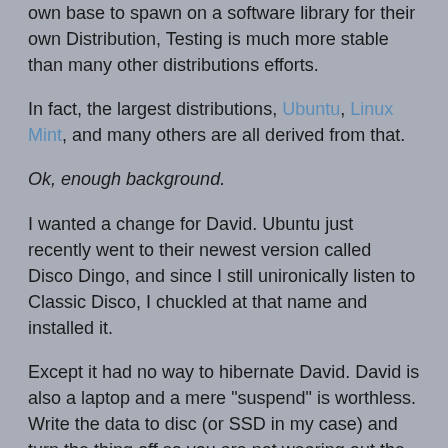own base to spawn on a software library for their own Distribution, Testing is much more stable than many other distributions efforts.
In fact, the largest distributions, Ubuntu, Linux Mint, and many others are all derived from that.
Ok, enough background.
I wanted a change for David.  Ubuntu just recently went to their newest version called Disco Dingo, and since I still unironically listen to Classic Disco, I chuckled at that name and installed it.
Except it had no way to hibernate David.  David is also a laptop and a mere "suspend" is worthless.  Write the data to disc (or SSD in my case) and turn the thing off so you are not wearing out the batteries.
Ubuntu is the base for Linux Mint.  The hibernate issue is a requirement so any distribution without hibernate is a "Non-Starter" for me.